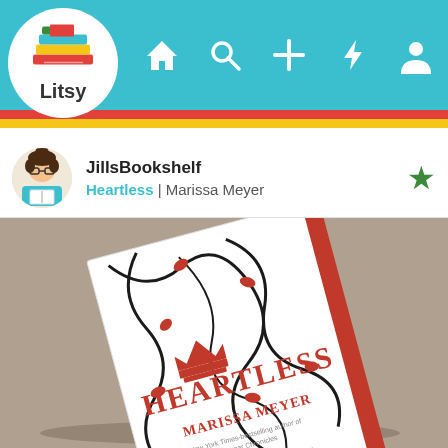[Figure (screenshot): Litsy app navigation bar with teal background, logo (stacked books with 'Litsy' text in white circle), and nav icons: home, search, plus, lightning bolt, person]
JillsBookshelf
Heartless | Marissa Meyer
[Figure (photo): Photo of the book 'Heartless' by Marissa Meyer lying on a textured gray/beige surface. The book cover is white with black decorative vine/floral swirls, red accents, and a red crown with 'HEARTLESS' in large red letters and 'MARISSA MEYER' below. The book has a red spine visible.]